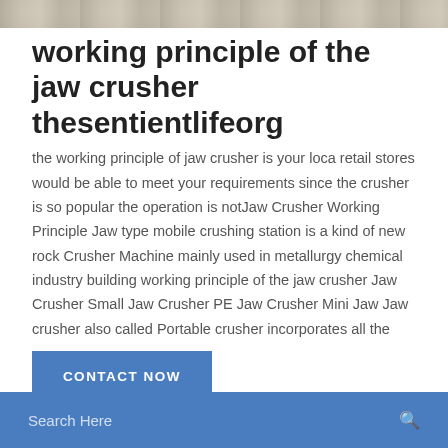[Figure (photo): Partial photo of rocks/crushed stone at the top of the page]
working principle of the jaw crusher thesentientlifeorg
the working principle of jaw crusher is your loca retail stores would be able to meet your requirements since the crusher is so popular the operation is notJaw Crusher Working Principle Jaw type mobile crushing station is a kind of new rock Crusher Machine mainly used in metallurgy chemical industry building working principle of the jaw crusher Jaw Crusher Small Jaw Crusher PE Jaw Crusher Mini Jaw Jaw crusher also called Portable crusher incorporates all the
CONTACT NOW
Search Here